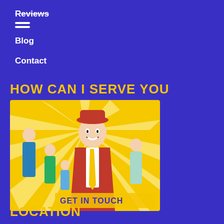Reviews
Blog
Contact
HOW CAN I SERVE YOU
[Figure (photo): A man in a red jacket and red hat smiling, surrounded by a family group (children and a woman), on a yellow sunburst background. Text overlay reads 'GET IN TOUCH'.]
LOCATION